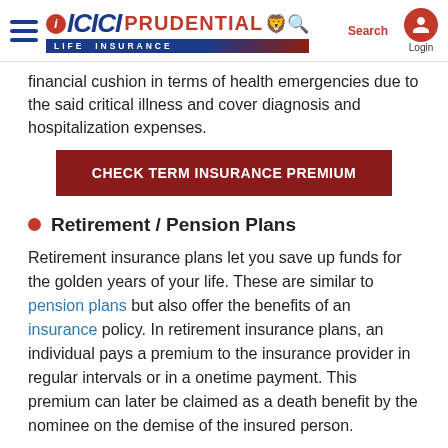ICICI PRUDENTIAL LIFE INSURANCE
financial cushion in terms of health emergencies due to the said critical illness and cover diagnosis and hospitalization expenses.
CHECK TERM INSURANCE PREMIUM
Retirement / Pension Plans
Retirement insurance plans let you save up funds for the golden years of your life. These are similar to pension plans but also offer the benefits of an insurance policy. In retirement insurance plans, an individual pays a premium to the insurance provider in regular intervals or in a onetime payment. This premium can later be claimed as a death benefit by the nominee on the demise of the insured person.